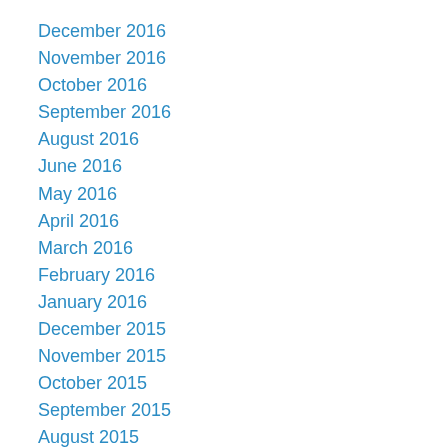December 2016
November 2016
October 2016
September 2016
August 2016
June 2016
May 2016
April 2016
March 2016
February 2016
January 2016
December 2015
November 2015
October 2015
September 2015
August 2015
June 2015
May 2015
April 2015
March 2015